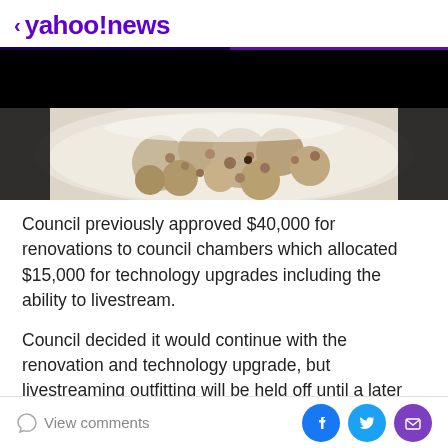< yahoo!news
[Figure (photo): Photo of oatmeal or porridge in a bowl, viewed from above, on a white surface. The top portion of the image has a black bar overlay.]
Council previously approved $40,000 for renovations to council chambers which allocated $15,000 for technology upgrades including the ability to livestream.
Council decided it would continue with the renovation and technology upgrade, but livestreaming outfitting will be held off until a later undetermined date.
Jeff Johnston, Beaverlodge CAO, said the cost of
View comments